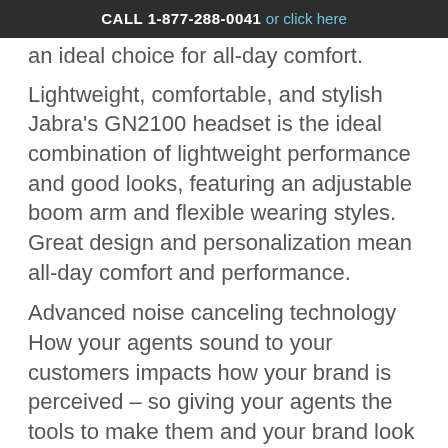CALL 1-877-288-0041 or click here
an ideal choice for all-day comfort.
Lightweight, comfortable, and stylish
Jabra's GN2100 headset is the ideal combination of lightweight performance and good looks, featuring an adjustable boom arm and flexible wearing styles. Great design and personalization mean all-day comfort and performance.
Advanced noise canceling technology
How your agents sound to your customers impacts how your brand is perceived – so giving your agents the tools to make them and your brand look good is smart business.